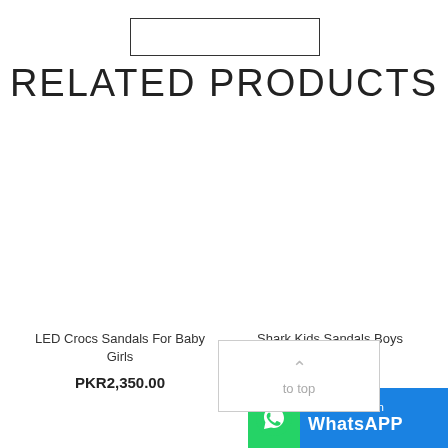[Figure (other): Search input box (empty)]
RELATED PRODUCTS
LED Crocs Sandals For Baby Girls
PKR2,350.00
Shark Kids Sandals Boys
PKR1,850.00
[Figure (other): Scroll to top overlay box with up arrow and 'to top' text]
[Figure (other): WhatsApp Chat button bar with phone icon, 'Chat with us on WhatsApp' text on blue background]